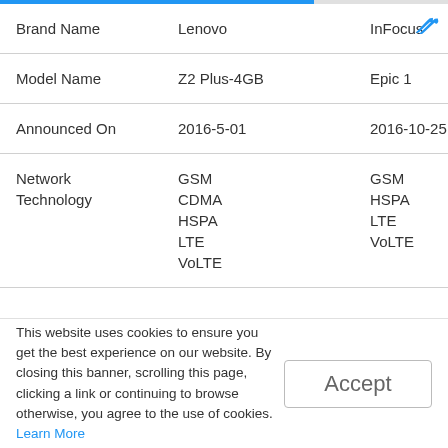|  | Lenovo | InFocus |
| --- | --- | --- |
| Brand Name | Lenovo | InFocus |
| Model Name | Z2 Plus-4GB | Epic 1 |
| Announced On | 2016-5-01 | 2016-10-25 |
| Network Technology | GSM
CDMA
HSPA
LTE
VoLTE | GSM
HSPA
LTE
VoLTE |
This website uses cookies to ensure you get the best experience on our website. By closing this banner, scrolling this page, clicking a link or continuing to browse otherwise, you agree to the use of cookies. Learn More